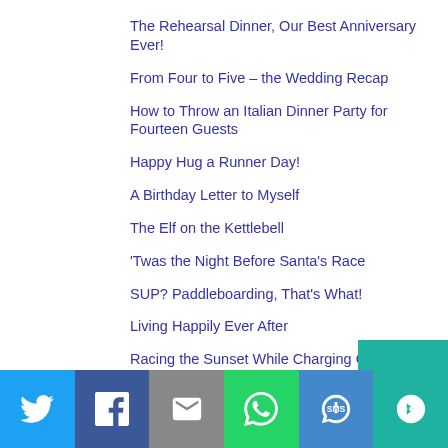The Rehearsal Dinner, Our Best Anniversary Ever!
From Four to Five – the Wedding Recap
How to Throw an Italian Dinner Party for Fourteen Guests
Happy Hug a Runner Day!
A Birthday Letter to Myself
The Elf on the Kettlebell
'Twas the Night Before Santa's Race
SUP? Paddleboarding, That's What!
Living Happily Ever After
Racing the Sunset While Charging Off the Mountain at Pandapas Pond
[Figure (infographic): Social sharing bar with Twitter, Facebook, Email, WhatsApp, SMS, and More buttons]